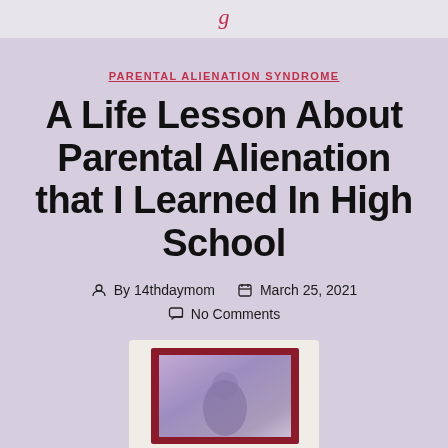PARENTAL ALIENATION SYNDROME
A Life Lesson About Parental Alienation that I Learned In High School
By 14thdaymom   March 25, 2021
No Comments
[Figure (photo): A framed photograph with a dark red/maroon frame, partially visible, showing an image with purple and blue tones.]